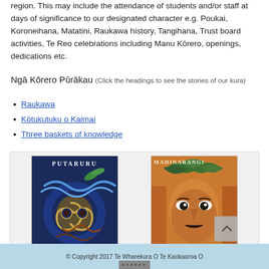region. This may include the attendance of students and/or staff at days of significance to our designated character e.g. Poukai, Koroneihana, Matatini, Raukawa history, Tangihana, Trust board activities, Te Reo celebrations including Manu Kōrero, openings, dedications etc.
Ngā Kōrero Pūrākau (Click the headings to see the stories of our kura)
Raukawa
Kōtukutuku o Kaimai
Three baskets of knowledge
[Figure (photo): Two book/artwork covers side by side: left is 'PUTARURU' showing Māori tā moko design in blue and brown tones; right is 'MAHINARANGI' showing a stylized portrait of a Māori woman with green leaves in her hair.]
© Copyright 2017 Te Wharekura O Te Kaokaoroa O